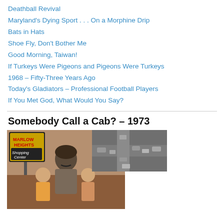Deathball Revival
Maryland's Dying Sport . . . On a Morphine Drip
Bats in Hats
Shoe Fly, Don't Bother Me
Good Morning, Taiwan!
If Turkeys Were Pigeons and Pigeons Were Turkeys
1968 – Fifty-Three Years Ago
Today's Gladiators – Professional Football Players
If You Met God, What Would You Say?
Somebody Call a Cab? – 1973
[Figure (photo): Composite image: left side shows a color photo of a man with mustache sitting on a couch with two young children in front of a Marlow Heights Shopping Center sign; right side inset shows a black-and-white aerial view of cars in a parking lot or street intersection.]